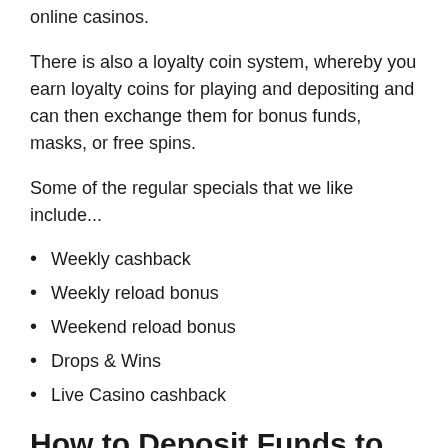online casinos.
There is also a loyalty coin system, whereby you earn loyalty coins for playing and depositing and can then exchange them for bonus funds, masks, or free spins.
Some of the regular specials that we like include...
Weekly cashback
Weekly reload bonus
Weekend reload bonus
Drops & Wins
Live Casino cashback
How to Deposit Funds to Your Account